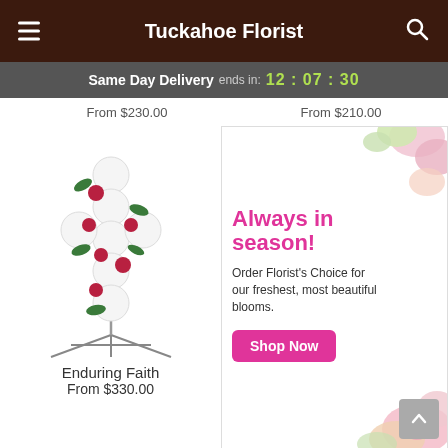Tuckahoe Florist
Same Day Delivery ends in: 12:07:30
From $230.00  From $210.00
[Figure (photo): Floral cross arrangement on easel stand with white flowers and red roses — Enduring Faith]
Enduring Faith
From $330.00
[Figure (infographic): Advertisement banner: Always in season! Order Florist's Choice for our freshest, most beautiful blooms. Shop Now button with pink flower background.]